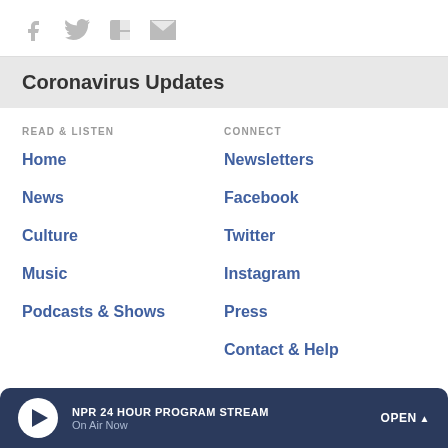[Figure (other): Social share icons: Facebook, Twitter, Flipboard, Email]
Coronavirus Updates
READ & LISTEN
Home
News
Culture
Music
Podcasts & Shows
CONNECT
Newsletters
Facebook
Twitter
Instagram
Press
Contact & Help
NPR 24 HOUR PROGRAM STREAM On Air Now OPEN